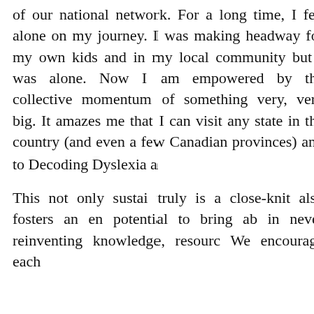of our national network. For a long time, I felt alone on my journey. I was making headway for my own kids and in my local community but I was alone. Now I am empowered by the collective momentum of something very, very big. It amazes me that I can visit any state in the country (and even a few Canadian provinces) and to Decoding Dyslexia a

This not only sustai truly is a close-knit also fosters an en potential to bring ab in never reinventing knowledge, resourc We encourage each
[Figure (other): Popup modal advertisement for IMSE community. Contains title 'Join the IMSE community', subtitle 'For free tools, tips, resources and more!', and a 'Learn More' link in red/orange. Has an X close button in teal in the top right corner. Background is light gray.]